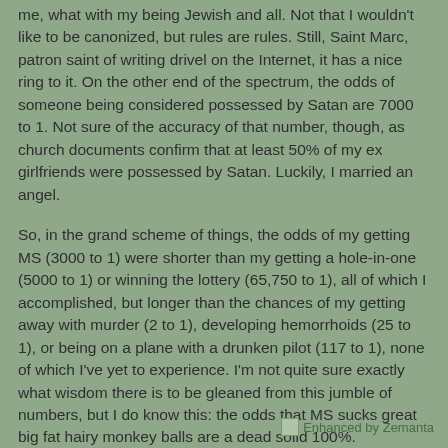me, what with my being Jewish and all. Not that I wouldn't like to be canonized, but rules are rules. Still, Saint Marc, patron saint of writing drivel on the Internet, it has a nice ring to it. On the other end of the spectrum, the odds of someone being considered possessed by Satan are 7000 to 1. Not sure of the accuracy of that number, though, as church documents confirm that at least 50% of my ex girlfriends were possessed by Satan. Luckily, I married an angel.
So, in the grand scheme of things, the odds of my getting MS (3000 to 1) were shorter than my getting a hole-in-one (5000 to 1) or winning the lottery (65,750 to 1), all of which I accomplished, but longer than the chances of my getting away with murder (2 to 1), developing hemorrhoids (25 to 1), or being on a plane with a drunken pilot (117 to 1), none of which I've yet to experience. I'm not quite sure exactly what wisdom there is to be gleaned from this jumble of numbers, but I do know this: the odds that MS sucks great big fat hairy monkey balls are a dead solid 100%.
[Figure (logo): Enhanced by Zemanta badge with small icon]